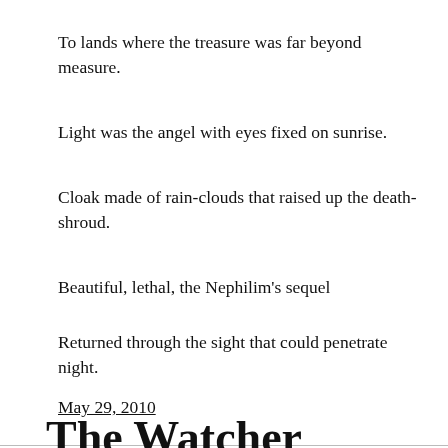To lands where the treasure was far beyond measure.
Light was the angel with eyes fixed on sunrise.
Cloak made of rain-clouds that raised up the death-shroud.
Beautiful, lethal, the Nephilim's sequel
Returned through the sight that could penetrate night.
May 29, 2010
The Watcher